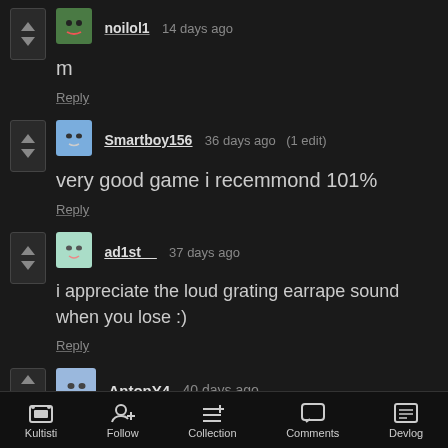noilol1  14 days ago
m
Reply
Smartboy156  36 days ago  (1 edit)
very good game i recemmond 101%
Reply
ad1st__  37 days ago
i appreciate the loud grating earrape sound when you lose :)
Reply
AntonY4  40 days ago
Kultisti  Follow  Collection  Comments  Devlog